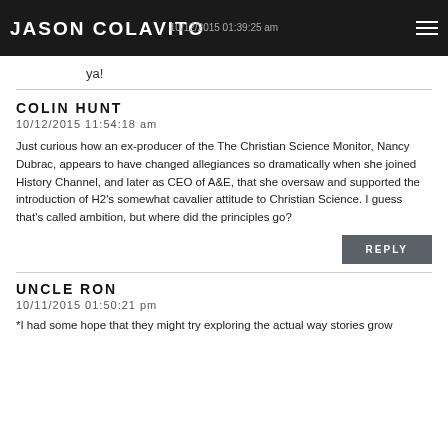JASON COLAVITO | 10/12/2015 01:39:25 am
ya!
COLIN HUNT
10/12/2015 11:54:18 am
Just curious how an ex-producer of the The Christian Science Monitor, Nancy Dubrac, appears to have changed allegiances so dramatically when she joined History Channel, and later as CEO of A&E, that she oversaw and supported the introduction of H2's somewhat cavalier attitude to Christian Science. I guess that's called ambition, but where did the principles go?
UNCLE RON
10/11/2015 01:50:21 pm
*I had some hope that they might try exploring the actual way stories grow